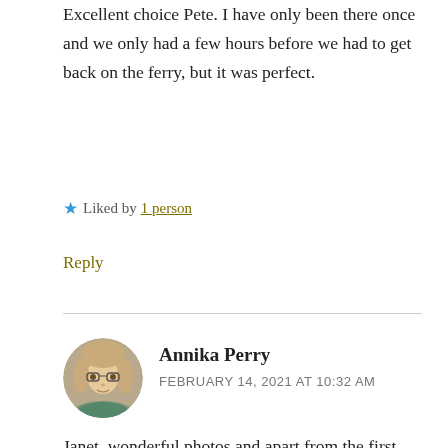Excellent choice Pete. I have only been there once and we only had a few hours before we had to get back on the ferry, but it was perfect.
★ Liked by 1 person
Reply
Annika Perry
FEBRUARY 14, 2021 AT 10:32 AM
Janet, wonderful photos and apart from the first two I've been to all these areas! Ioana and the islands were breathtaking, Cornwall is stunning and Whitby a personal family favourite. My parents-in-law lived in Shropshire so we came to love the area and countryside. Oh, I'd love to see the Angel of the